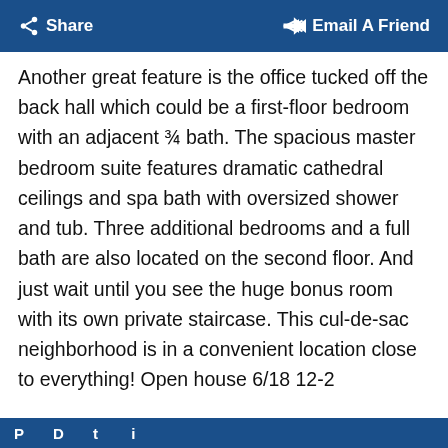Share  Email A Friend
Another great feature is the office tucked off the back hall which could be a first-floor bedroom with an adjacent ¾ bath. The spacious master bedroom suite features dramatic cathedral ceilings and spa bath with oversized shower and tub. Three additional bedrooms and a full bath are also located on the second floor. And just wait until you see the huge bonus room with its own private staircase. This cul-de-sac neighborhood is in a convenient location close to everything! Open house 6/18 12-2
Property Details of 3 Newfound Road